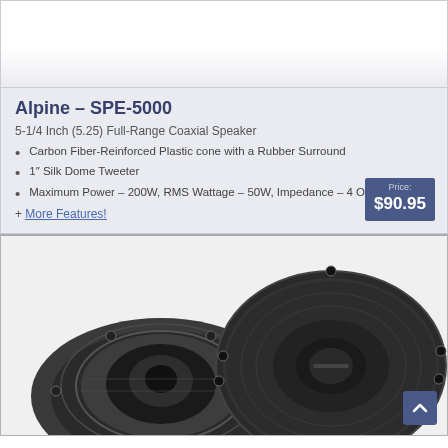[Figure (photo): Top portion of a white Alpine speaker product image on white/light gray background]
Alpine – SPE-5000
5-1/4 Inch (5.25) Full-Range Coaxial Speaker
Carbon Fiber-Reinforced Plastic cone with a Rubber Surround
1″ Silk Dome Tweeter
Maximum Power – 200W, RMS Wattage – 50W, Impedance – 4 Ohm
+ More Features!
Price: $90.95
[Figure (photo): Two black Alpine car speakers shown from above — one viewed from the back showing the basket and voice coil, one from the front showing the grille and cone. Dark gray/black circular speakers on light gray background.]